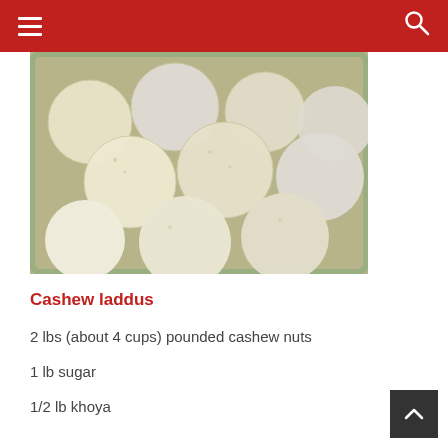Navigation bar with hamburger menu and search icon
[Figure (photo): Photo of cashew laddus — round white coconut-coated balls piled in a green plastic container]
Cashew laddus
2 lbs (about 4 cups) pounded cashew nuts
1 lb sugar
1/2 lb khoya